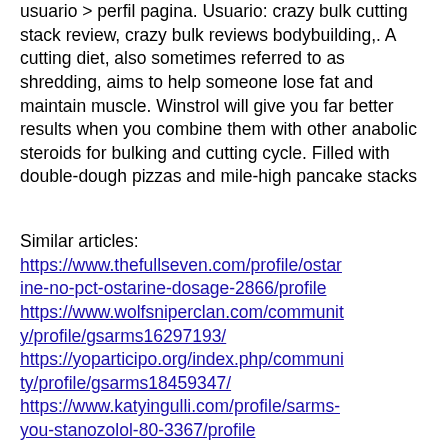usuario > perfil pagina. Usuario: crazy bulk cutting stack review, crazy bulk reviews bodybuilding,. A cutting diet, also sometimes referred to as shredding, aims to help someone lose fat and maintain muscle. Winstrol will give you far better results when you combine them with other anabolic steroids for bulking and cutting cycle. Filled with double-dough pizzas and mile-high pancake stacks
Similar articles: https://www.thefullseven.com/profile/ostarine-no-pct-ostarine-dosage-2866/profile https://www.wolfsniperclan.com/community/profile/gsarms16297193/ https://yoparticipo.org/index.php/community/profile/gsarms18459347/ https://www.katyingulli.com/profile/sarms-you-stanozolol-80-3367/profile